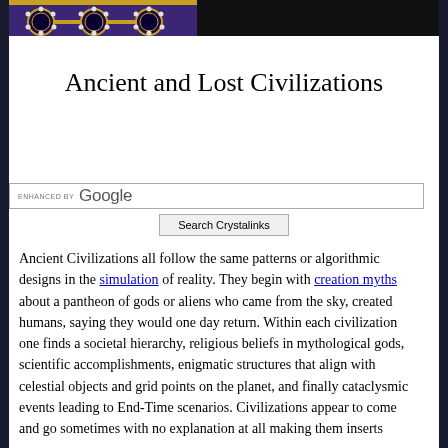[Figure (illustration): Decorative header image showing jeweled ornament design on dark purple background, with black area to the right]
Ancient and Lost Civilizations
[Figure (screenshot): Enhanced by Google search bar with 'Search Crystalinks' button]
Ancient Civilizations all follow the same patterns or algorithmic designs in the simulation of reality. They begin with creation myths about a pantheon of gods or aliens who came from the sky, created humans, saying they would one day return. Within each civilization one finds a societal hierarchy, religious beliefs in mythological gods, scientific accomplishments, enigmatic structures that align with celestial objects and grid points on the planet, and finally cataclysmic events leading to End-Time scenarios. Civilizations appear to come and go sometimes with no explanation at all making them inserts